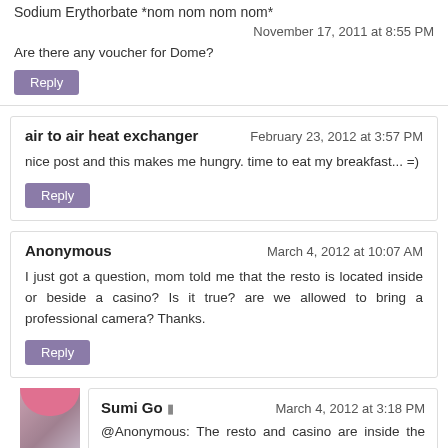Sodium Erythorbate *nom nom nom nom*
November 17, 2011 at 8:55 PM
Are there any voucher for Dome?
Reply
air to air heat exchanger
February 23, 2012 at 3:57 PM
nice post and this makes me hungry. time to eat my breakfast... =)
Reply
Anonymous
March 4, 2012 at 10:07 AM
I just got a question, mom told me that the resto is located inside or beside a casino? Is it true? are we allowed to bring a professional camera? Thanks.
Reply
Sumi Go
March 4, 2012 at 3:18 PM
@Anonymous: The resto and casino are inside the hotel.. :)